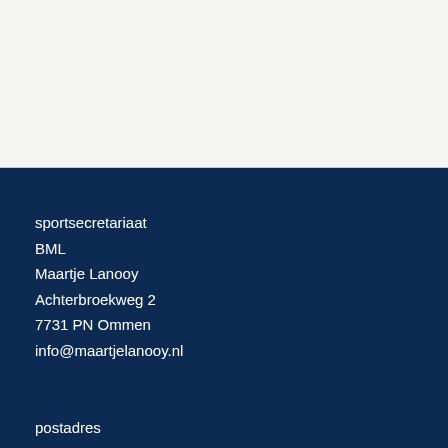sportsecretariaat
BML
Maartje Lanooy
Achterbroekweg 2
7731 PN Ommen
info@maartjelanooy.nl
postadres